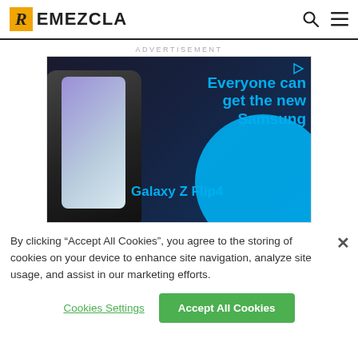REMEZCLA
ADVERTISEMENT
[Figure (photo): Samsung Galaxy Z Flip4 advertisement banner showing the phone and text 'Everyone can get the new Samsung Galaxy Z Flip4']
By clicking “Accept All Cookies”, you agree to the storing of cookies on your device to enhance site navigation, analyze site usage, and assist in our marketing efforts.
Cookies Settings
Accept All Cookies